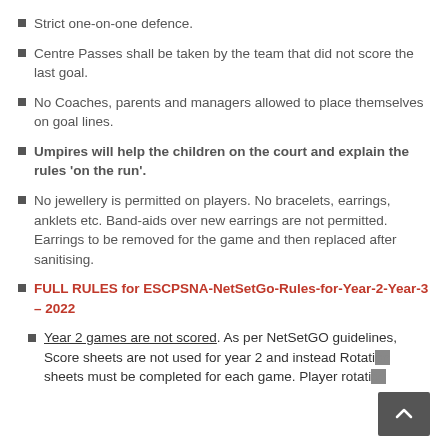Strict one-on-one defence.
Centre Passes shall be taken by the team that did not score the last goal.
No Coaches, parents and managers allowed to place themselves on goal lines.
Umpires will help the children on the court and explain the rules ‘on the run’.
No jewellery is permitted on players. No bracelets, earrings, anklets etc. Band-aids over new earrings are not permitted. Earrings to be removed for the game and then replaced after sanitising.
FULL RULES for ESCPSNA-NetSetGo-Rules-for-Year-2-Year-3 – 2022
Year 2 games are not scored. As per NetSetGO guidelines, Score sheets are not used for year 2 and instead Rotation sheets must be completed for each game. Player rotati…